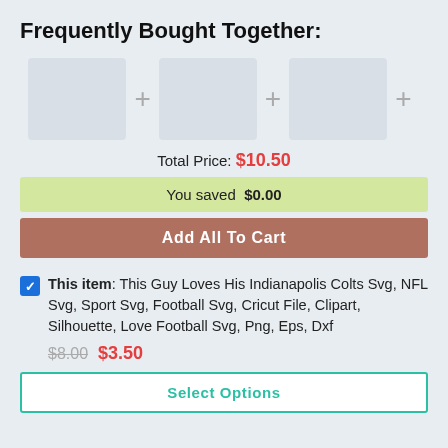Frequently Bought Together:
[Figure (infographic): Three product image placeholders arranged in a row with plus signs between them]
Total Price: $10.50
You saved $0.00
Add All To Cart
This item: This Guy Loves His Indianapolis Colts Svg, NFL Svg, Sport Svg, Football Svg, Cricut File, Clipart, Silhouette, Love Football Svg, Png, Eps, Dxf
$8.00 $3.50
Select Options